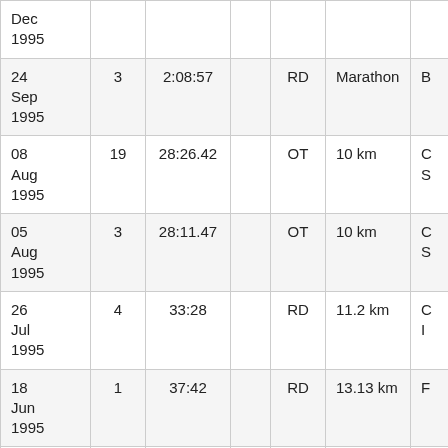| Date | Place | Time |  | Surface | Distance | Event |
| --- | --- | --- | --- | --- | --- | --- |
| Dec 1995 |  |  |  |  |  |  |
| 24 Sep 1995 | 3 | 2:08:57 |  | RD | Marathon | B |
| 08 Aug 1995 | 19 | 28:26.42 |  | OT | 10 km | C S |
| 05 Aug 1995 | 3 | 28:11.47 |  | OT | 10 km | C S |
| 26 Jul 1995 | 4 | 33:28 |  | RD | 11.2 km | C I |
| 18 Jun 1995 | 1 | 37:42 |  | RD | 13.13 km | F |
| 05 ... | 3 | 38:38:18 |  | OT | 10 k... | ... |